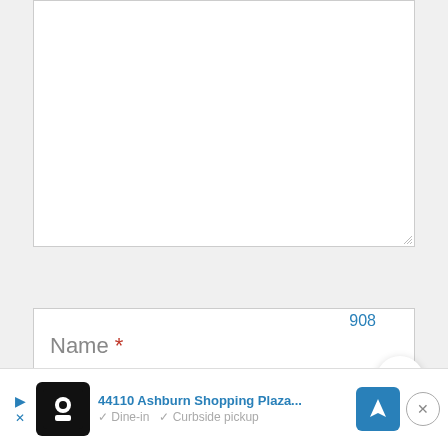[Figure (screenshot): Empty white textarea input box with resize handle at bottom-right corner]
Name *
908
[Figure (screenshot): Heart/favorite button (circular white button with blue heart icon)]
[Figure (screenshot): Ad banner: 44110 Ashburn Shopping Plaza... with restaurant logo, navigation icon, Dine-in, Curbside pickup text, and close button]